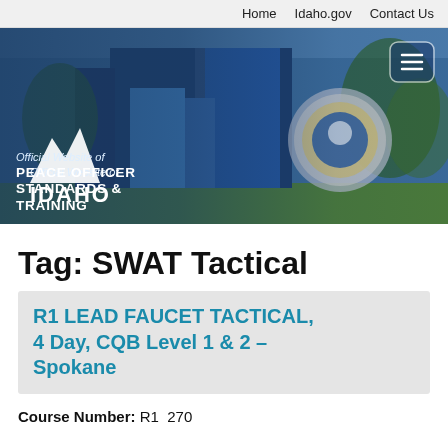Home   Idaho.gov   Contact Us
[Figure (photo): Idaho Peace Officer Standards & Training website hero banner showing a building entrance with logo and Idaho state branding]
Tag: SWAT Tactical
R1 LEAD FAUCET TACTICAL, 4 Day, CQB Level 1 & 2 – Spokane
Course Number: R1  270